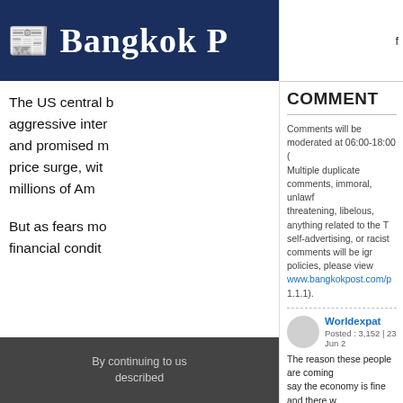[Figure (logo): Bangkok Post newspaper logo in white gothic/blackletter font on dark navy blue background]
The US central [bank launched] aggressive inter[est rate hikes] and promised m[ore to tame the] price surge, wit[h the war hitting] millions of Am[ericans...]
But as fears mo[unt of a] financial condit[ions tightening...]
By continuing to u[se our site you agree as] described
f
COMMENT
Comments will be moderated at 06:00-18:00 ( Multiple duplicate comments, immoral, unlawf threatening, libelous, anything related to the T self-advertising, or racist comments will be ign policies, please view www.bangkokpost.com/p 1.1.1).
Worldexpat   Posted : 3,152 | 23 Jun 2[0...]
The reason these people are coming say the economy is fine and there w recession is because they know it's to delay the inevitable. Money prin energy and lockdowns resulting in s and now rapid rate rises to curtail th this government policy will break t While further money printing and m